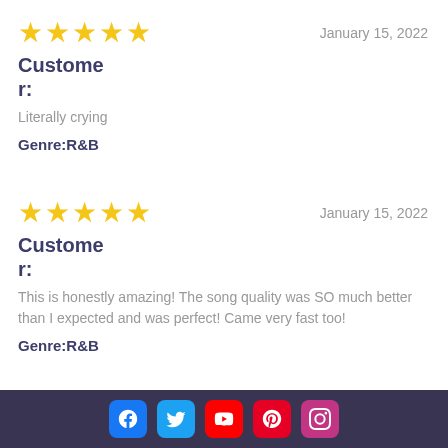★★★★★  January 15, 2022
Customer:
Literally crying
Genre:R&B
★★★★★  January 15, 2022
Customer:
This is honestly amazing! The song quality was SO much better than I expected and was perfect! Came very fast too!
Genre:R&B
[Figure (other): Dark footer bar with social media icons: Facebook, Twitter, YouTube, Pinterest, Instagram]